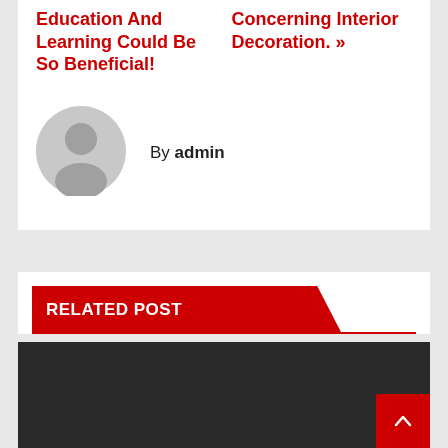Education And Learning Could Be So Beneficial!
Concerning Interior Decoration. »
[Figure (illustration): Generic grey user avatar circle with person silhouette]
By admin
RELATED POST
[Figure (photo): Dark/black thumbnail image area for related post]